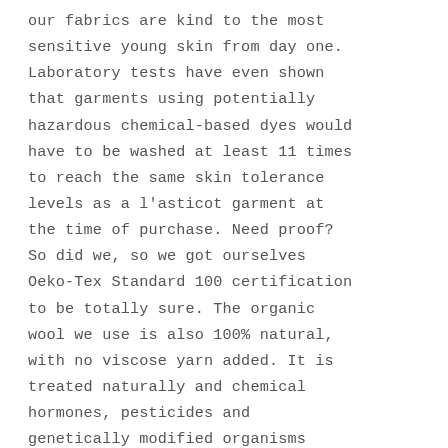our fabrics are kind to the most sensitive young skin from day one. Laboratory tests have even shown that garments using potentially hazardous chemical-based dyes would have to be washed at least 11 times to reach the same skin tolerance levels as a l'asticot garment at the time of purchase. Need proof? So did we, so we got ourselves Oeko-Tex Standard 100 certification to be totally sure. The organic wool we use is also 100% natural, with no viscose yarn added. It is treated naturally and chemical hormones, pesticides and genetically modified organisms (GMOs) are strictly out of bounds. As well as keeping little ones warm